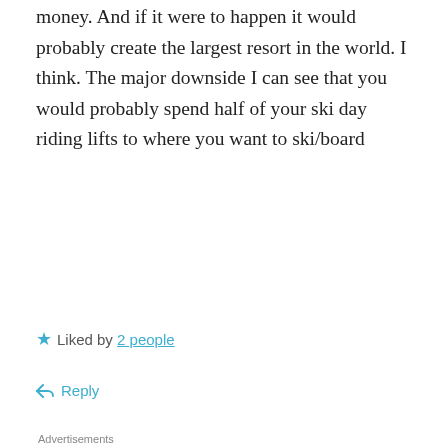money. And if it were to happen it would probably create the largest resort in the world. I think. The major downside I can see that you would probably spend half of your ski day riding lifts to where you want to ski/board
★ Liked by 2 people
↩ Reply
Advertisements
[Figure (infographic): Advertisement for P2 product showing logo with black square icon and 'P2' text, headline reading 'Getting your team on the same page is easy. And free.' with partial view of people profile photos at bottom]